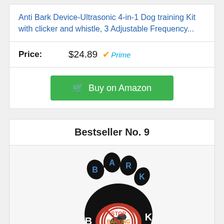Anti Bark Device-Ultrasonic 4-in-1 Dog training Kit with clicker and whistle, 3 Adjustable Frequency...
Price: $24.89 Prime
Buy on Amazon
Bestseller No. 9
[Figure (illustration): A paw print logo with the text NO BARK and STOP BARKING with a dog silhouette in a red circle]